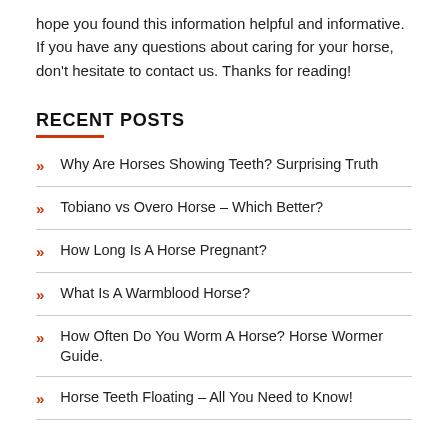hope you found this information helpful and informative. If you have any questions about caring for your horse, don't hesitate to contact us. Thanks for reading!
RECENT POSTS
Why Are Horses Showing Teeth? Surprising Truth
Tobiano vs Overo Horse – Which Better?
How Long Is A Horse Pregnant?
What Is A Warmblood Horse?
How Often Do You Worm A Horse? Horse Wormer Guide.
Horse Teeth Floating – All You Need to Know!